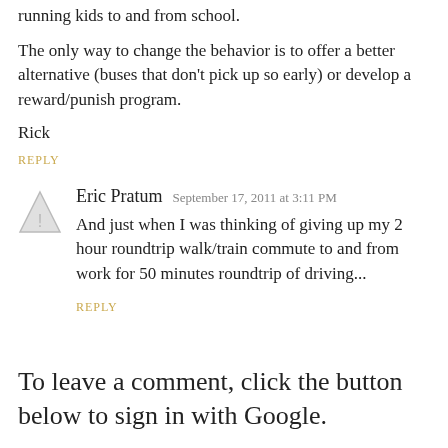running kids to and from school.
The only way to change the behavior is to offer a better alternative (buses that don't pick up so early) or develop a reward/punish program.
Rick
REPLY
Eric Pratum  September 17, 2011 at 3:11 PM
And just when I was thinking of giving up my 2 hour roundtrip walk/train commute to and from work for 50 minutes roundtrip of driving...
REPLY
To leave a comment, click the button below to sign in with Google.
SIGN IN WITH GOOGLE